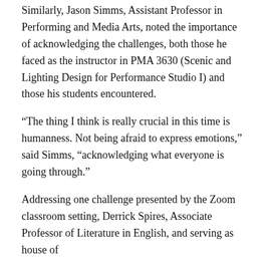Similarly, Jason Simms, Assistant Professor in Performing and Media Arts, noted the importance of acknowledging the challenges, both those he faced as the instructor in PMA 3630 (Scenic and Lighting Design for Performance Studio I) and those his students encountered.
“The thing I think is really crucial in this time is humanness. Not being afraid to express emotions,” said Simms, “acknowledging what everyone is going through.”
Addressing one challenge presented by the Zoom classroom setting, Derrick Spires, Associate Professor of Literature in English, and serving as house of...